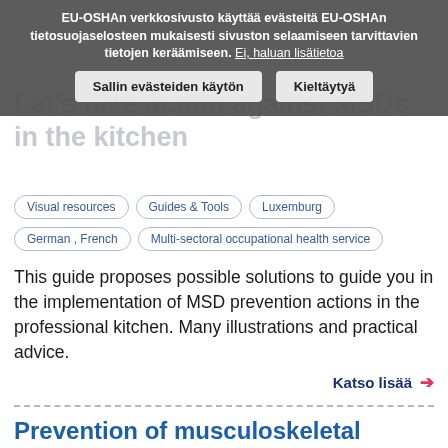[Figure (screenshot): Cookie consent banner overlay in Finnish language with two buttons: 'Sallin evästeiden käytön' and 'Kieltäytyä']
Let's take action against MSDs in the kitchen
Visual resources
Guides & Tools
Luxemburg
German , French
Multi-sectoral occupational health service
This guide proposes possible solutions to guide you in the implementation of MSD prevention actions in the professional kitchen. Many illustrations and practical advice.
Katso lisää →
Prevention of musculoskeletal disorders (MSDs) for the bartender
Guides & Tools
Belgia
French ; Dutch